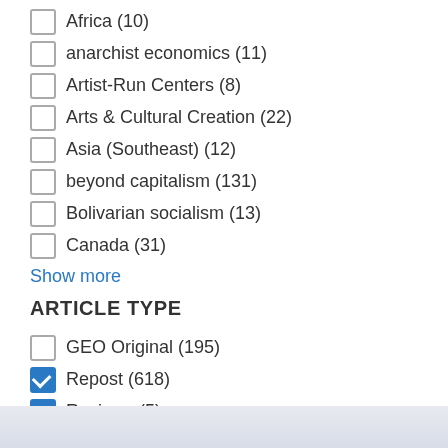Africa (10)
anarchist economics (11)
Artist-Run Centers (8)
Arts & Cultural Creation (22)
Asia (Southeast) (12)
beyond capitalism (131)
Bolivarian socialism (13)
Canada (31)
Show more
ARTICLE TYPE
GEO Original (195)
Repost (618)
Reviews (5)